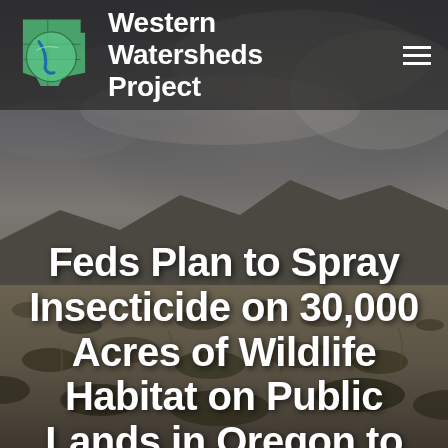[Figure (photo): Landscape background image of high desert scrubland with dramatic stormy cloudy sky and mountain ridgeline in the distance. Sagebrush in foreground, dark moody tones.]
Western Watersheds Project
Feds Plan to Spray Insecticide on 30,000 Acres of Wildlife Habitat on Public Lands in Oregon to Increase Forage for Private Livestock